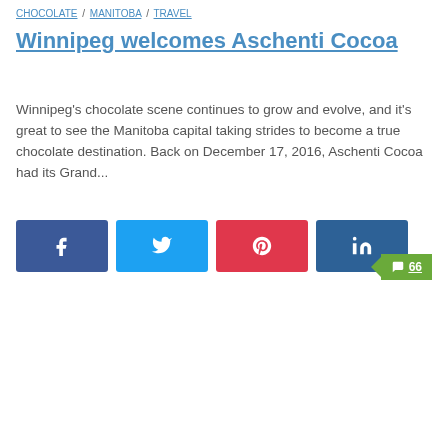CHOCOLATE / MANITOBA / TRAVEL
Winnipeg welcomes Aschenti Cocoa
Winnipeg's chocolate scene continues to grow and evolve, and it's great to see the Manitoba capital taking strides to become a true chocolate destination. Back on December 17, 2016, Aschenti Cocoa had its Grand...
[Figure (infographic): Four social share buttons: Facebook (blue), Twitter (light blue), Pinterest (red), LinkedIn (dark blue)]
💬 66